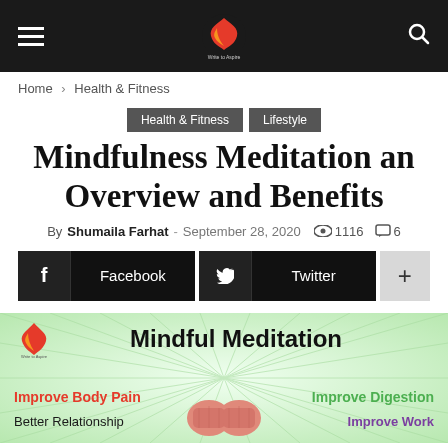Navigation header with hamburger menu, logo, and search icon
Home › Health & Fitness
Health & Fitness  Lifestyle
Mindfulness Meditation an Overview and Benefits
By Shumaila Farhat - September 28, 2020  1116  6
[Figure (screenshot): Social share buttons: Facebook, Twitter, and plus button]
[Figure (infographic): Mindful Meditation infographic with logo, title, and benefits: Improve Body Pain, Improve Digestion, Better Relationship, Improve Work, with hands illustration in center]